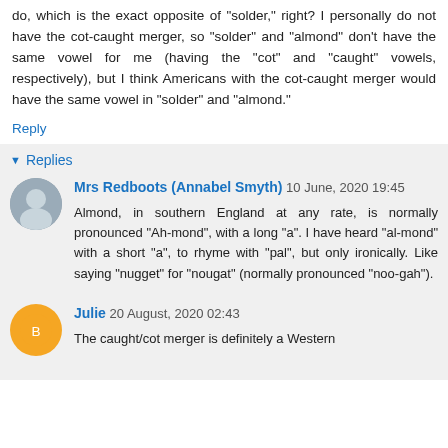do, which is the exact opposite of "solder," right? I personally do not have the cot-caught merger, so "solder" and "almond" don't have the same vowel for me (having the "cot" and "caught" vowels, respectively), but I think Americans with the cot-caught merger would have the same vowel in "solder" and "almond."
Reply
Replies
Mrs Redboots (Annabel Smyth) 10 June, 2020 19:45
Almond, in southern England at any rate, is normally pronounced "Ah-mond", with a long "a". I have heard "al-mond" with a short "a", to rhyme with "pal", but only ironically. Like saying "nugget" for "nougat" (normally pronounced "noo-gah").
Julie 20 August, 2020 02:43
The caught/cot merger is definitely a Western